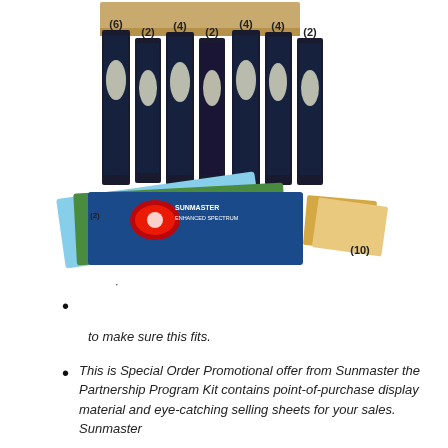[Figure (photo): Product display showing multiple Sunmaster grow light bulb boxes arranged vertically with quantity labels in parentheses: (6), (2), (4), (2), (4), (4), (2). Below the boxes are promotional brochures/catalogs labeled (2) and (10). The products are displayed against a white background.]
·
to make sure this fits.
This is Special Order Promotional offer from Sunmaster the Partnership Program Kit contains point-of-purchase display material and eye-catching selling sheets for your sales. Sunmaster